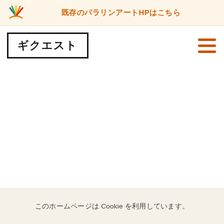既存のパラリンアートHPはこちら
ギクエスト
このホームページは Cookie を利用しています。